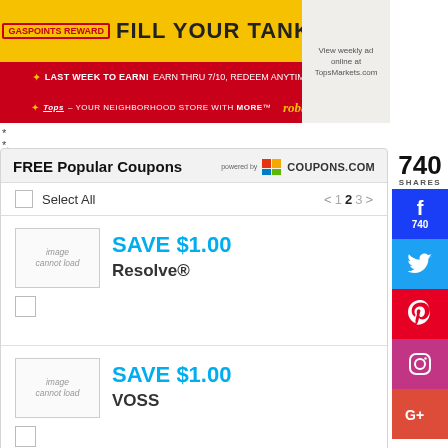[Figure (photo): Tops Markets gas points promotional banner: yellow background with 'FILL YOUR TANK for less!', red bar with 'LAST WEEK TO EARN! EARN THRU 7/10, REDEEM ANYTIME THRU 7/24', and Tops store branding strip]
*
*.
FREE Popular Coupons   powered by COUPONS.com
Select All   < 1 2 3 >
SAVE $1.00
Resolve®
SAVE $1.00
VOSS
740
SHARES
740 (Facebook)
Twitter
Pinterest
Instagram
Google+